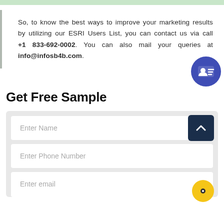So, to know the best ways to improve your marketing results by utilizing our ESRI Users List, you can contact us via call +1 833-692-0002. You can also mail your queries at info@infosb4b.com.
Get Free Sample
[Figure (screenshot): Web form with fields: Enter Name, Enter Phone Number, Enter email, and a scroll-to-top button and chat button]